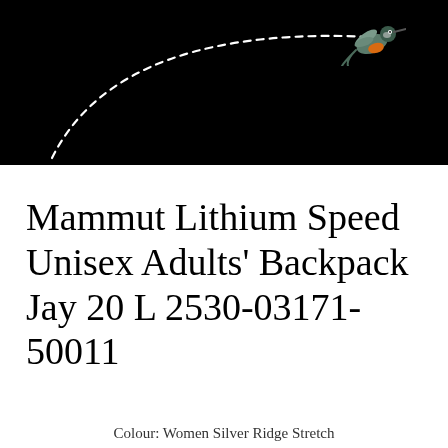[Figure (illustration): Black banner with a dashed arc trajectory line and a small hummingbird illustration at the top right end of the arc]
Mammut Lithium Speed Unisex Adults' Backpack Jay 20 L 2530-03171-50011
Colour: Women Silver Ridge Stretch